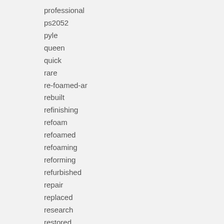professional
ps2052
pyle
queen
quick
rare
re-foamed-ar
rebuilt
refinishing
refoam
refoamed
refoaming
reforming
refurbished
repair
replaced
research
restored
restoring
retro
review
rock